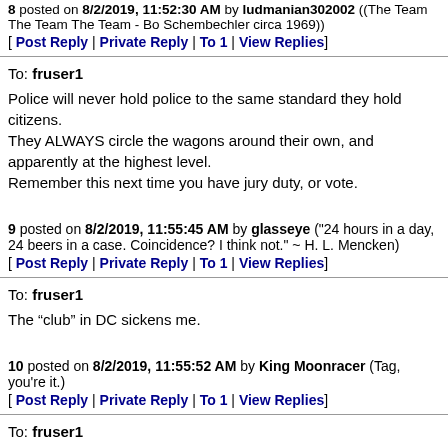8 posted on 8/2/2019, 11:52:30 AM by ludmanian302002 ((The Team The Team The Team - Bo Schembechler circa 1969))
[ Post Reply | Private Reply | To 1 | View Replies]
To: fruser1
Police will never hold police to the same standard they hold citizens.
They ALWAYS circle the wagons around their own, and apparently at the highest level.
Remember this next time you have jury duty, or vote.
9 posted on 8/2/2019, 11:55:45 AM by glasseye ("24 hours in a day, 24 beers in a case. Coincidence? I think not." ~ H. L. Mencken)
[ Post Reply | Private Reply | To 1 | View Replies]
To: fruser1
The “club” in DC sickens me.
10 posted on 8/2/2019, 11:55:52 AM by King Moonracer (Tag, you're it.)
[ Post Reply | Private Reply | To 1 | View Replies]
To: fruser1